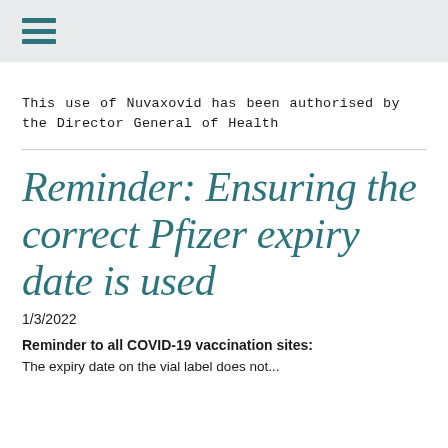This use of Nuvaxovid has been authorised by the Director General of Health
Reminder: Ensuring the correct Pfizer expiry date is used
1/3/2022
Reminder to all COVID-19 vaccination sites:
The expiry date on the vial label does not...